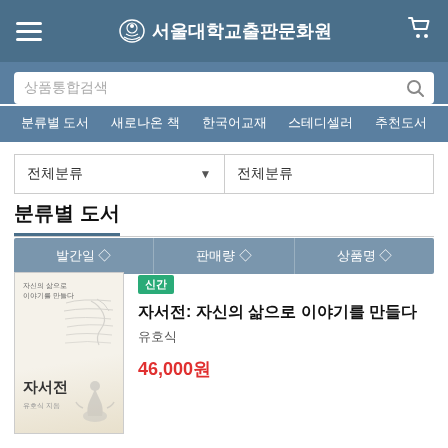서울대학교출판문화원
상품통합검색
분류별 도서  새로나온 책  한국어교재  스테디셀러  추천도서
전체분류
분류별 도서
발간일 ◇  판매량 ◇  상품명 ◇
[Figure (illustration): Book cover of '자서전: 자신의 삶으로 이야기를 만들다' by 유호식, showing a handwritten script background with the title '자서전' in Korean and a small author figure at the bottom]
신간
자서전: 자신의 삶으로 이야기를 만들다
유호식
46,000원